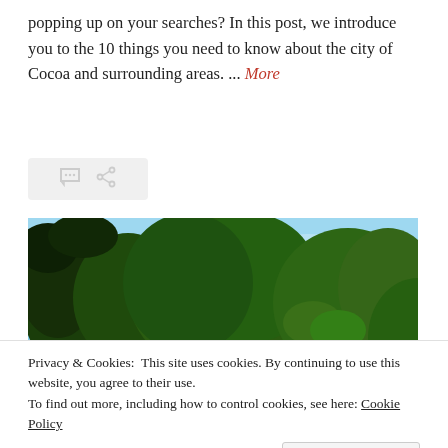popping up on your searches? In this post, we introduce you to the 10 things you need to know about the city of Cocoa and surrounding areas. ... More
[Figure (photo): Outdoor photo showing lush green tropical trees and palm trees against a clear blue sky, likely near a waterway in Cocoa, Florida.]
Privacy & Cookies: This site uses cookies. By continuing to use this website, you agree to their use. To find out more, including how to control cookies, see here: Cookie Policy